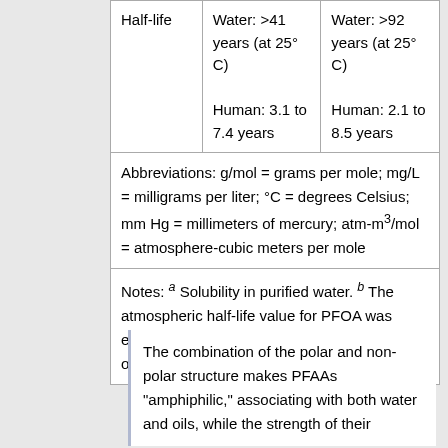| Half-life | Water: >41 years (at 25° C)
Human: 3.1 to 7.4 years | Water: >92 years (at 25° C)
Human: 2.1 to 8.5 years |
| Abbreviations: g/mol = grams per mole; mg/L = milligrams per liter; °C = degrees Celsius; mm Hg = millimeters of mercury; atm-m³/mol = atmosphere-cubic meters per mole |
| Notes: a Solubility in purified water. b The atmospheric half-life value for PFOA was extrapolated from available data measured over short study periods. |
The combination of the polar and non-polar structure makes PFAAs "amphiphilic," associating with both water and oils, while the strength of their...